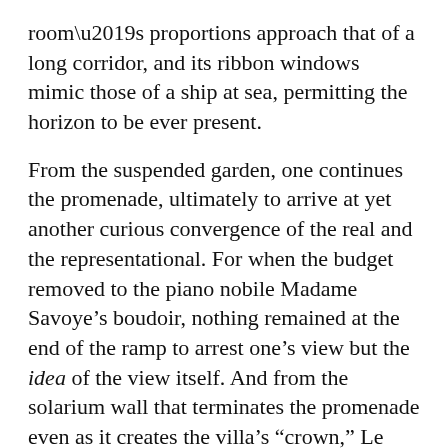room's proportions approach that of a long corridor, and its ribbon windows mimic those of a ship at sea, permitting the horizon to be ever present.
From the suspended garden, one continues the promenade, ultimately to arrive at yet another curious convergence of the real and the representational. For when the budget removed to the piano nobile Madame Savoye's boudoir, nothing remained at the end of the ramp to arrest one's view but the idea of the view itself. And from the solarium wall that terminates the promenade even as it creates the villa's “crown,” Le Corbusier removes a rectangle. A picture appears. The “view itself” is made manifest. Yet as one approaches the aperture, this enigmatic image vanishes. The